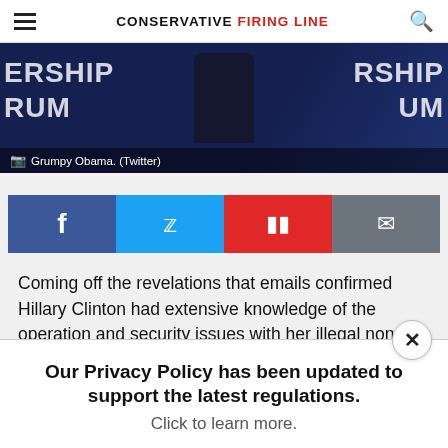CONSERVATIVE FIRING LINE
[Figure (photo): A man speaking at a podium at what appears to be a Women's Leadership Forum event. Text overlay reads 'Grumpy Obama. (Twitter)']
Grumpy Obama. (Twitter)
[Figure (infographic): Social sharing buttons row: Facebook (blue), Twitter (light blue), Flipboard (red), Email (grey)]
Coming off the revelations that emails confirmed Hillary Clinton had extensive knowledge of the operation and security issues with her illegal non-secured email system, Andrew McCarthy on Tuesday, reveals that recent FBI texts
Our Privacy Policy has been updated to support the latest regulations. Click to learn more.